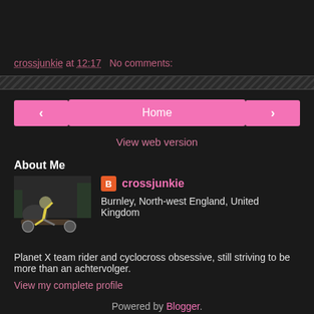crossjunkie at 12:17   No comments:
< Home > View web version
About Me
crossjunkie
Burnley, North-west England, United Kingdom
Planet X team rider and cyclocross obsessive, still striving to be more than an achtervolger.
View my complete profile
Powered by Blogger.